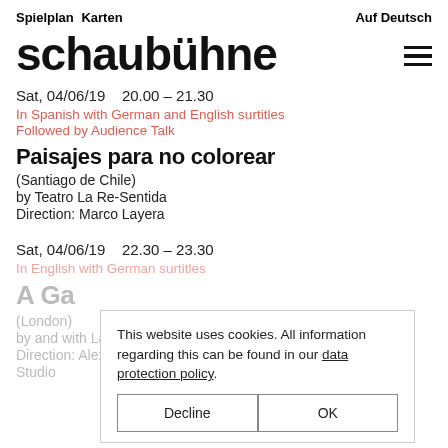Spielplan  Karten                                    Auf Deutsch
schaubühne
Sat, 04/06/19    20.00 – 21.30
In Spanish with German and English surtitles
Followed by Audience Talk
Paisajes para no colorear
(Santiago de Chile)
by Teatro La Re-Sentida
Direction: Marco Layera
Sat, 04/06/19    22.30 – 23.30
In English with German surtitles
A G...
(London)
by and with La Joubouzeph
Direction: Alexandra Spencer-Jones
Studio
This website uses cookies. All information regarding this can be found in our data protection policy.